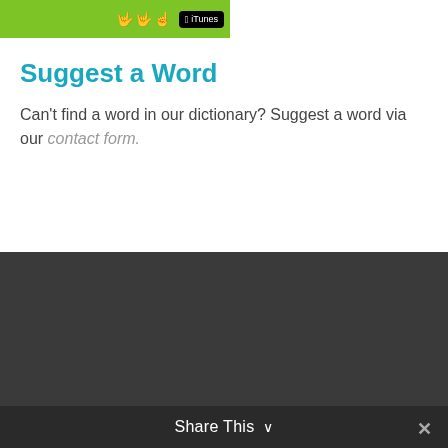[Figure (screenshot): Green banner with hand sign icons and iTunes download button]
Suggest a Word
Can't find a word in our dictionary? Suggest a word via our contact form.
Learn to Sign
Hands
Emotions
Share This ∨  ✕